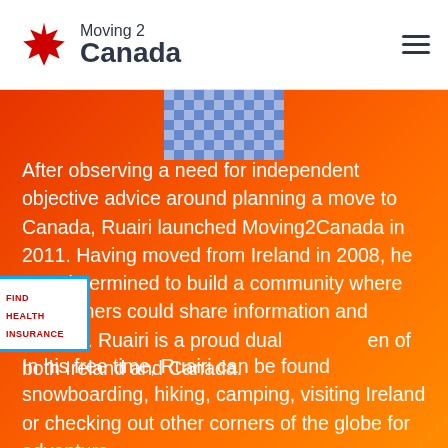Moving 2 Canada
[Figure (photo): Partial photo of a person wearing a blue and white checkered/plaid shirt, visible from neck/shoulders against orange background]
After observing a need for independent objective advice around planning a move to Canada, Ruairi launched Moving2Canada in 2011. Having moved from Ireland in 2008, he was determined to build a community where newcomers could share information and support. Ruairi is a proud dual citizen of both Ireland and Canada.
In his free time, Ruairi can be found snowboarding, hiking, camping, visiting Ireland or checking out other corners of the globe for adventure.